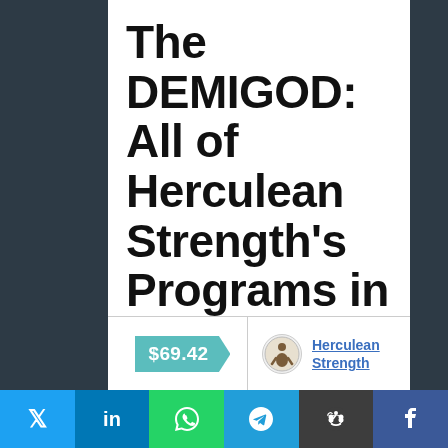The DEMIGOD: All of Herculean Strength's Programs in One Superhuman Package
$69.42
Herculean Strength
[Figure (infographic): Social share bar with Twitter, LinkedIn, WhatsApp, Telegram, Reddit, and Facebook buttons]